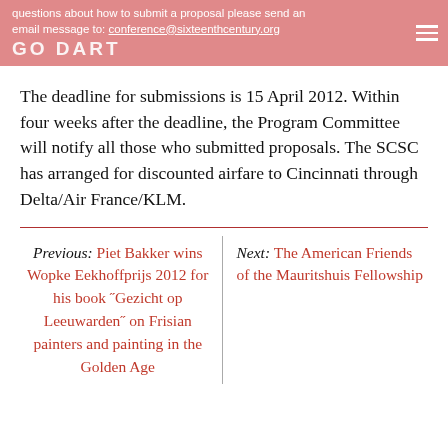questions about how to submit a proposal please send an email message to: conference@sixteenthcentury.org
The deadline for submissions is 15 April 2012. Within four weeks after the deadline, the Program Committee will notify all those who submitted proposals. The SCSC has arranged for discounted airfare to Cincinnati through Delta/Air France/KLM.
Previous: Piet Bakker wins Wopke Eekhoffprijs 2012 for his book "Gezicht op Leeuwarden" on Frisian painters and painting in the Golden Age
Next: The American Friends of the Mauritshuis Fellowship